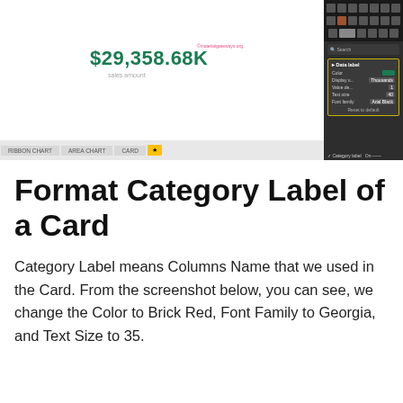[Figure (screenshot): Power BI card visual screenshot showing $29,358.68K value in green, with right-side formatting panel (Data label section highlighted with yellow border) showing Color, Display units (Thousands), Value decimal, Text size, Font family (Arial Black), and Reset to default options. Bottom shows tab bar with RIBBON CHART, AREA CHART, CARD tabs, and Category label On toggle.]
Format Category Label of a Card
Category Label means Columns Name that we used in the Card. From the screenshot below, you can see, we change the Color to Brick Red, Font Family to Georgia, and Text Size to 35.